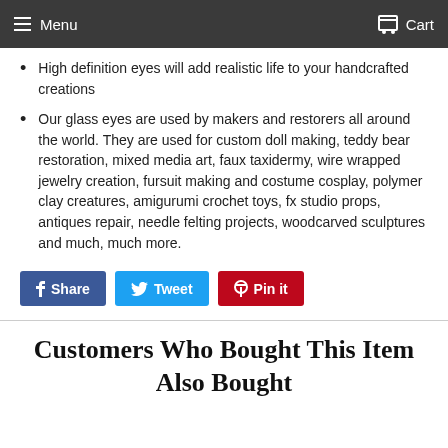Menu  Cart
High definition eyes will add realistic life to your handcrafted creations
Our glass eyes are used by makers and restorers all around the world. They are used for custom doll making, teddy bear restoration, mixed media art, faux taxidermy, wire wrapped jewelry creation, fursuit making and costume cosplay, polymer clay creatures, amigurumi crochet toys, fx studio props, antiques repair, needle felting projects, woodcarved sculptures and much, much more.
Share  Tweet  Pin it
Customers Who Bought This Item Also Bought